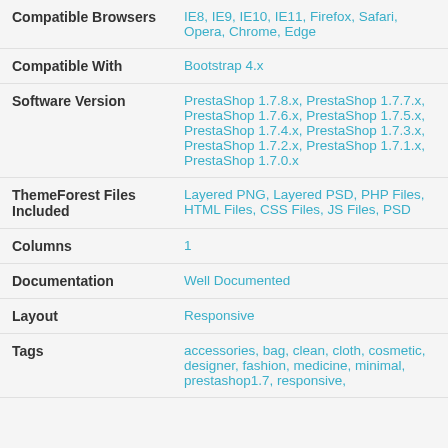| Property | Value |
| --- | --- |
| Compatible Browsers | IE8, IE9, IE10, IE11, Firefox, Safari, Opera, Chrome, Edge |
| Compatible With | Bootstrap 4.x |
| Software Version | PrestaShop 1.7.8.x, PrestaShop 1.7.7.x, PrestaShop 1.7.6.x, PrestaShop 1.7.5.x, PrestaShop 1.7.4.x, PrestaShop 1.7.3.x, PrestaShop 1.7.2.x, PrestaShop 1.7.1.x, PrestaShop 1.7.0.x |
| ThemeForest Files Included | Layered PNG, Layered PSD, PHP Files, HTML Files, CSS Files, JS Files, PSD |
| Columns | 1 |
| Documentation | Well Documented |
| Layout | Responsive |
| Tags | accessories, bag, clean, cloth, cosmetic, designer, fashion, medicine, minimal, prestashop1.7, responsive, |